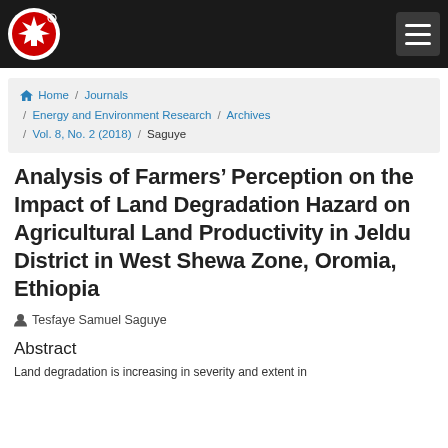Canadian Center of Science and Education — navigation bar with logo and hamburger menu
Home / Journals / Energy and Environment Research / Archives / Vol. 8, No. 2 (2018) / Saguye
Analysis of Farmers' Perception on the Impact of Land Degradation Hazard on Agricultural Land Productivity in Jeldu District in West Shewa Zone, Oromia, Ethiopia
Tesfaye Samuel Saguye
Abstract
Land degradation is increasing in severity and extent in